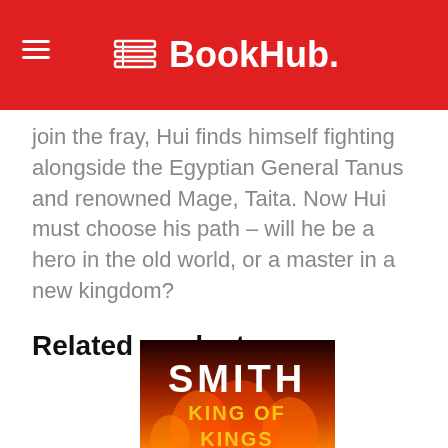BookHub.
join the fray, Hui finds himself fighting alongside the Egyptian General Tanus and renowned Mage, Taita. Now Hui must choose his path – will he be a hero in the old world, or a master in a new kingdom?
Related products
[Figure (photo): Book cover of 'King of Kings' by Smith, showing the title in bold white letters with 'KING OF KINGS' in yellow on a fiery background]